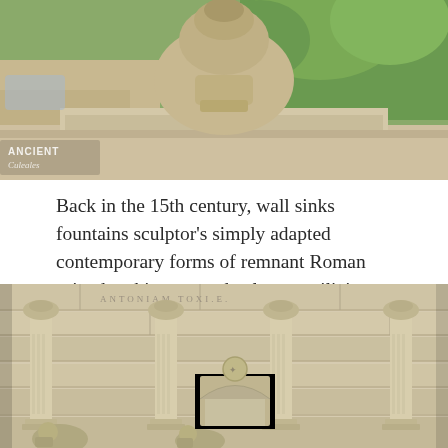[Figure (photo): Photograph of an ornate stone fountain with a large decorative urn-shaped basin top, set against green trees and a light stone balustrade. A watermark reading 'ANCIENT' with a decorative script word below is visible in the lower left corner.]
Back in the 15th century, wall sinks fountains sculptor’s simply adapted contemporary forms of remnant Roman ruined architraves and columns utilizing the classical scales and orders.
[Figure (photo): Photograph of ancient Roman-style stone architecture featuring detailed carved columns with Corinthian capitals, an architrave with inscriptions, decorative stone relief carvings, arched niches, and stone lion sculptures at the base. The stonework is light beige/tan colored.]